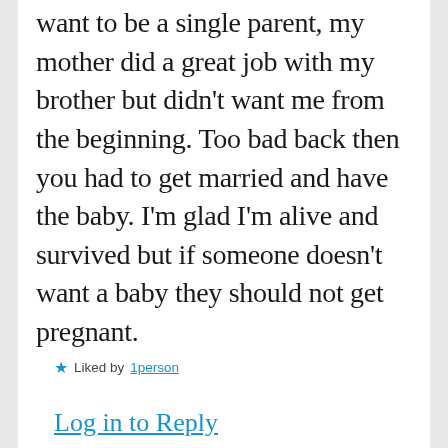want to be a single parent, my mother did a great job with my brother but didn't want me from the beginning. Too bad back then you had to get married and have the baby. I'm glad I'm alive and survived but if someone doesn't want a baby they should not get pregnant.
★ Liked by 1person
Log in to Reply